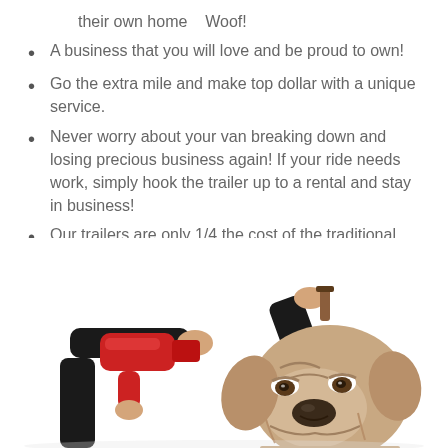their own home    Woof!
A business that you will love and be proud to own!
Go the extra mile and make top dollar with a unique service.
Never worry about your van breaking down and losing precious business again! If your ride needs work, simply hook the trailer up to a rental and stay in business!
Our trailers are only 1/4 the cost of the traditional pet grooming van – Put the $ back in your pocket.
[Figure (photo): A bulldog being groomed with a red hair dryer, person holding a brush in one hand and a red hair dryer in the other, white background]